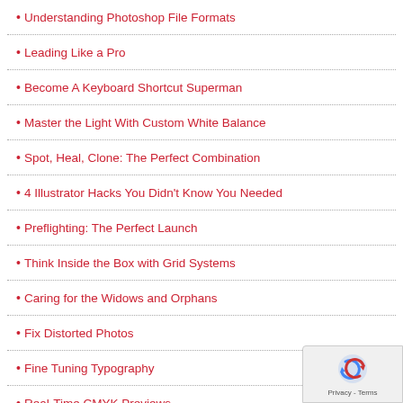Understanding Photoshop File Formats
Leading Like a Pro
Become A Keyboard Shortcut Superman
Master the Light With Custom White Balance
Spot, Heal, Clone: The Perfect Combination
4 Illustrator Hacks You Didn't Know You Needed
Preflighting: The Perfect Launch
Think Inside the Box with Grid Systems
Caring for the Widows and Orphans
Fix Distorted Photos
Fine Tuning Typography
Real-Time CMYK Previews
Compose Yourself!
Understanding Compound Paths